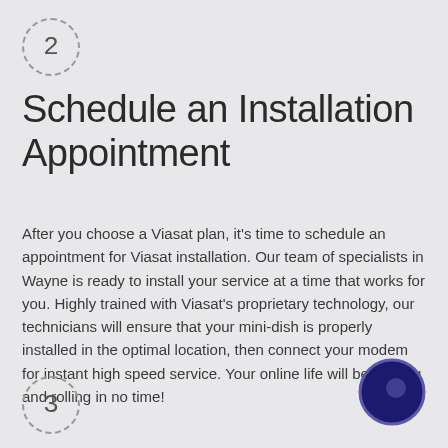[Figure (illustration): Circle with dashed border containing the number 2]
Schedule an Installation Appointment
After you choose a Viasat plan, it's time to schedule an appointment for Viasat installation. Our team of specialists in Wayne is ready to install your service at a time that works for you. Highly trained with Viasat's proprietary technology, our technicians will ensure that your mini-dish is properly installed in the optimal location, then connect your modem for instant high speed service. Your online life will be rocking and rolling in no time!
[Figure (illustration): Navy blue filled circle with lighter border on right side]
[Figure (illustration): Circle with dashed border containing the number 3]